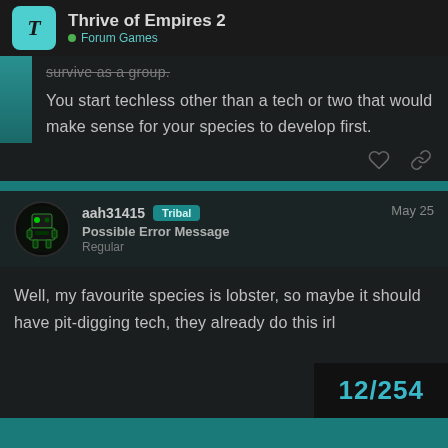Thrive of Empires 2 — Forum Games
survive as a group.
You start techless other than a tech or two that would make sense for your species to develop first.
aah31415 Tribal — Possible Error Message — Regular — May 25
Well, my favourite species is lobster, so maybe it should have pit-digging tech, they already do this irl
12/254